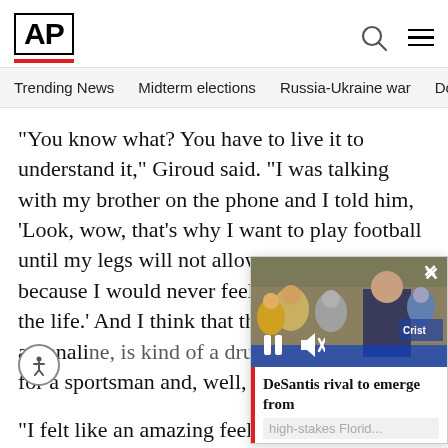AP
Trending News  Midterm elections  Russia-Ukraine war  Dona
“You know what? You have to live it to understand it,” Giroud said. “I was talking with my brother on the phone and I told him, ‘Look, wow, that’s why I want to play football until my legs will not allow me anymore, because I would never feel the same feeling in the life.’ And I think that thing, that adrenaline, is kind of a dru… for a sportsman and, well, I, I love
[Figure (screenshot): Video popup overlay showing a man in suit with people in background, with pause and mute icons, close button, and caption 'DeSantis rival to emerge from high-stakes Florid...' with red bar on left side]
“I felt like an amazing feeling insid… (relief) because I didn’t score man… s… but it was the night to do it… at… right place at the right time… Leão… give me a nice assist and a…